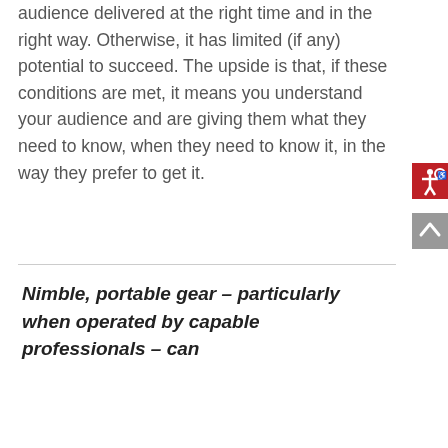audience delivered at the right time and in the right way. Otherwise, it has limited (if any) potential to succeed. The upside is that, if these conditions are met, it means you understand your audience and are giving them what they need to know, when they need to know it, in the way they prefer to get it.
Nimble, portable gear – particularly when operated by capable professionals – can